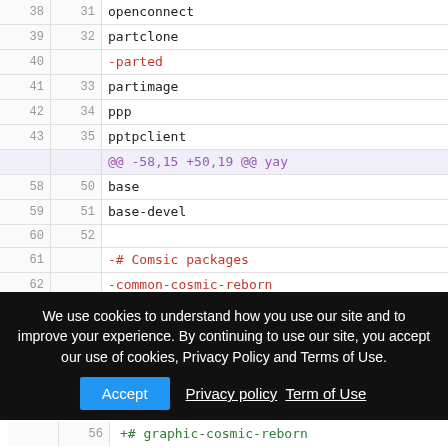| old ln | new ln | code |
| --- | --- | --- |
| 38 | 31 | openconnect |
| 39 | 32 | partclone |
| 40 |  | -parted |
| 41 | 33 | partimage |
| 42 | 34 | ppp |
| 43 | 35 | pptpclient |
|  |  | @@ -58,15 +50,19 @@ yay |
| 58 | 50 | base |
| 59 | 51 | base-devel |
| 60 | 52 |  |
| 61 |  | -# Comsic packages |
| 62 |  | -common-cosmic-reborn |
| 63 |  | -full-base-cosmic-reborn |
|  | 56 | +# graphic-cosmic-reborn |
We use cookies to understand how you use our site and to improve your experience. By continuing to use our site, you accept our use of cookies, Privacy Policy and Terms of Use.
Accept  Privacy policy  Term of Use